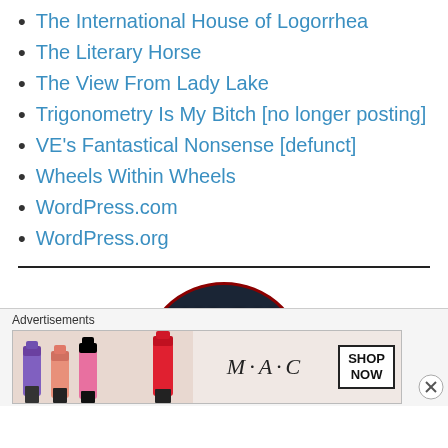The International House of Logorrhea
The Literary Horse
The View From Lady Lake
Trigonometry Is My Bitch [no longer posting]
VE's Fantastical Nonsense [defunct]
Wheels Within Wheels
WordPress.com
WordPress.org
[Figure (logo): WASH logo – circular dark badge with 'WASH' text and stylized face]
Advertisements
[Figure (photo): MAC cosmetics advertisement showing lipsticks and SHOP NOW button]